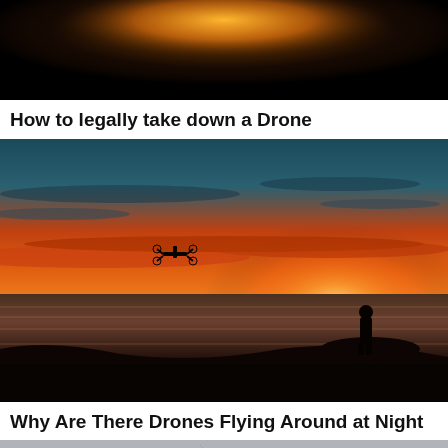[Figure (photo): Dark background with an orange glowing light source, likely a sunset or light orb]
How to legally take down a Drone
[Figure (photo): A vibrant orange and red sunset over the ocean with a silhouetted person standing on rocks and a drone flying in the sky]
Why Are There Drones Flying Around at Night
[Figure (photo): Partially visible image of what appears to be a drone or device on a gray surface]